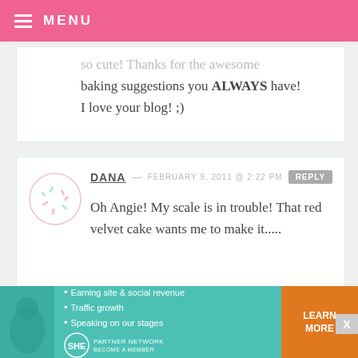MENU
so cute! Thanks for the awesome baking suggestions you ALWAYS have! I love your blog! ;)
DANA — FEBRUARY 9, 2011 @ 2:22 PM REPLY
Oh Angie! My scale is in trouble! That red velvet cake wants me to make it.....
LYNN @ SPRINKLES OF FLAVOR — FEBRUARY 9, 2011 @ 2:21 PM REPLY